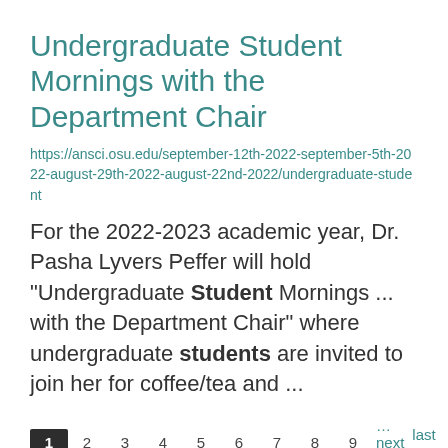Undergraduate Student Mornings with the Department Chair
https://ansci.osu.edu/september-12th-2022-september-5th-2022-august-29th-2022-august-22nd-2022/undergraduate-student
For the 2022-2023 academic year, Dr. Pasha Lyvers Peffer will hold “Undergraduate Student Mornings ... with the Department Chair” where undergraduate students are invited to join her for coffee/tea and ...
1 2 3 4 5 6 7 8 9 …next › last »